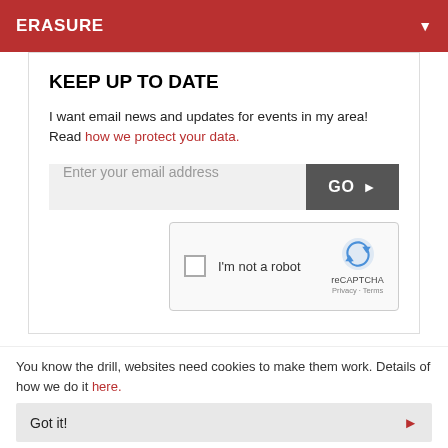ERASURE
KEEP UP TO DATE
I want email news and updates for events in my area! Read how we protect your data.
Enter your email address
[Figure (screenshot): reCAPTCHA widget with checkbox and 'I'm not a robot' label]
Please note: The term Orpheum Theater and/or Erasure as well as all associated graphics, logos, and/or other trademarks, tradenames or copyrights are the property of the Orpheum Theater and/or Erasure
You know the drill, websites need cookies to make them work. Details of how we do it here.
Got it!